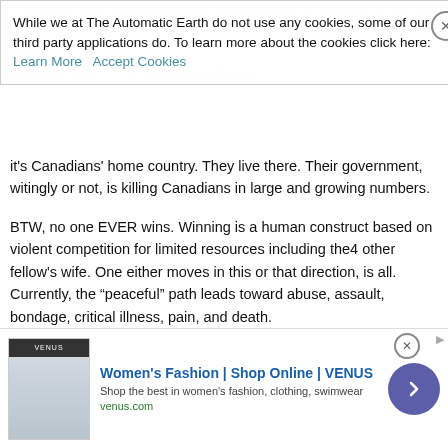While we at The Automatic Earth do not use any cookies, some of our third party applications do. To learn more about the cookies click here: Learn More  Accept Cookies
it's Canadians' home country. They live there. Their government, witingly or not, is killing Canadians in large and growing numbers.
BTW, no one EVER wins. Winning is a human construct based on violent competition for limited resources including the4 other fellow's wife. One either moves in this or that direction, is all. Currently, the "peaceful" path leads toward abuse, assault, bondage, critical illness, pain, and death.
Sometimes it's better, to paraphrase Patton, to let the other asshole die for his sins than you die for his sins.
Life.is.violent. Srsly. Animals kill each other and eat them. How gross is that? Ick. Gag me with a spoon. Even we do this although we hire out everything but the eating.
Sorry for your trauma in war (presumably) abroad. Then you were fighting FOR the bad guys. Now, folks are fighting to stop those bad guys. Very different moral architecture.
[Figure (infographic): Advertisement banner for Women's Fashion | Shop Online | VENUS. Shows VENUS logo, a model image placeholder, ad title in blue, description text, website URL venus.com, and a purple circular arrow button.]